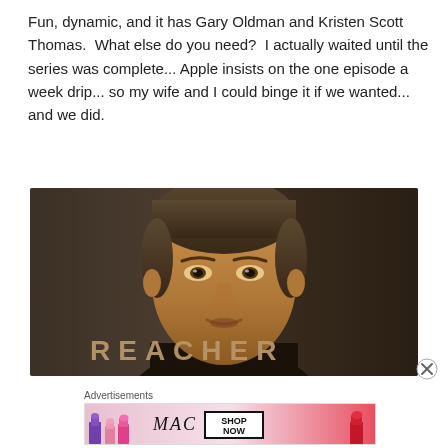Fun, dynamic, and it has Gary Oldman and Kristen Scott Thomas.  What else do you need?  I actually waited until the series was complete... Apple insists on the one episode a week drip... so my wife and I could binge it if we wanted... and we did.
[Figure (photo): Promotional image for the TV show 'REACHER' showing a man's face in close-up against a dark background, with the word REACHER in large golden/tan letters on the lower left.]
Advertisements
[Figure (photo): MAC cosmetics advertisement showing colorful lipsticks on the left, the MAC logo in the center, a 'SHOP NOW' button, and a red lipstick on the right.]